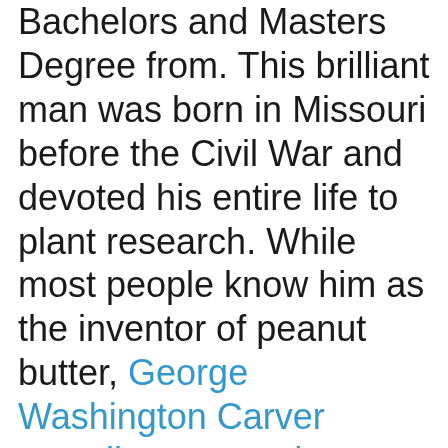Bachelors and Masters Degree from. This brilliant man was born in Missouri before the Civil War and devoted his entire life to plant research. While most people know him as the inventor of peanut butter, George Washington Carver actually was not the inventor! Instead, he did much more amazing things with peanuts and was the driving force behind what was then called Peanut Paste becoming popular. In 1916, Carver released a publication on 105 Ways to Use Peanuts that covered everything from foods to shampoo and shaving cream to plastics. In fact, Carver worked with...